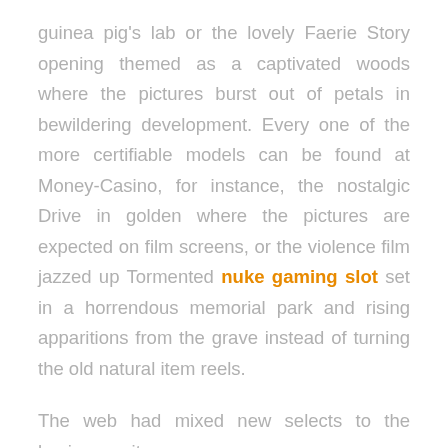guinea pig's lab or the lovely Faerie Story opening themed as a captivated woods where the pictures burst out of petals in bewildering development. Every one of the more certifiable models can be found at Money-Casino, for instance, the nostalgic Drive in golden where the pictures are expected on film screens, or the violence film jazzed up Tormented nuke gaming slot set in a horrendous memorial park and rising apparitions from the grave instead of turning the old natural item reels.
The web had mixed new selects to the business – it